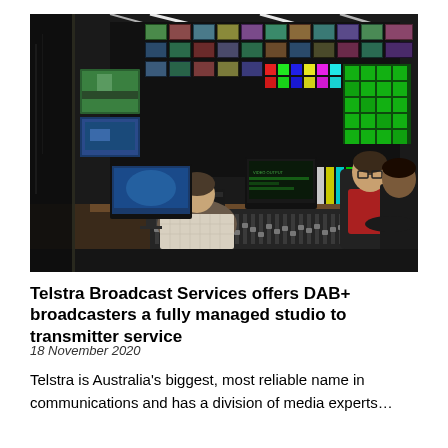[Figure (photo): Broadcast control room with multiple screens showing video feeds and monitoring software. Three people visible: one seated with back to camera at a workstation with mixing console, two others (one in red shirt, one in dark clothing) visible at the right side of the desk. A large video wall dominates the background with dozens of screens.]
Telstra Broadcast Services offers DAB+ broadcasters a fully managed studio to transmitter service
18 November 2020
Telstra is Australia's biggest, most reliable name in communications and has a division of media experts…